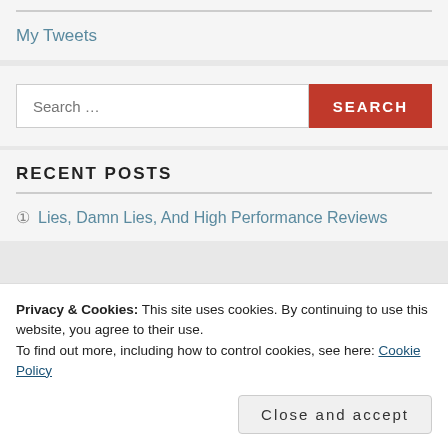My Tweets
Search ...
RECENT POSTS
Lies, Damn Lies, And High Performance Reviews
Privacy & Cookies: This site uses cookies. By continuing to use this website, you agree to their use.
To find out more, including how to control cookies, see here: Cookie Policy
Close and accept